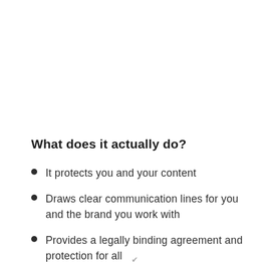What does it actually do?
It protects you and your content
Draws clear communication lines for you and the brand you work with
Provides a legally binding agreement and protection for all